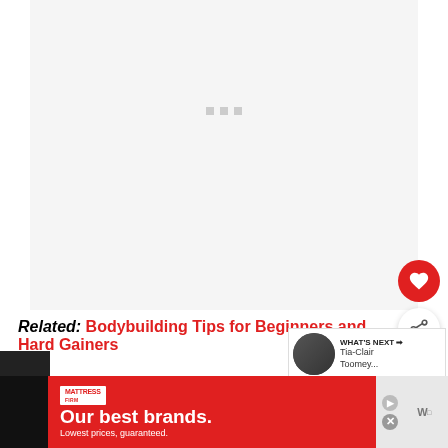[Figure (screenshot): Light gray placeholder/loading area with three small gray dots in the center indicating loading state]
[Figure (other): Red circular heart (favorite) button and white circular share button floating on the right side]
Related: Bodybuilding Tips for Beginners and Hard Gainers
[Figure (other): What's Next panel with circular thumbnail of a person and text: Tia-Clair Toomey...]
[Figure (other): Advertisement banner: Mattress Firm - Our best brands. Lowest prices, guaranteed.]